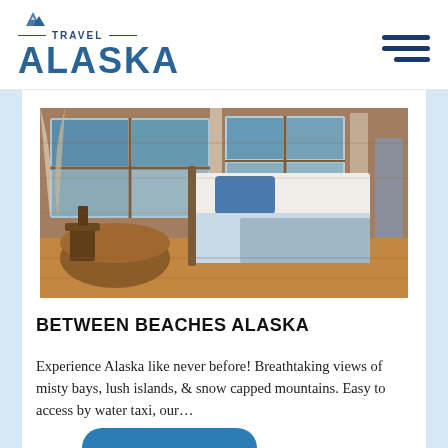TRAVEL ALASKA
[Figure (photo): Interior of a rustic Alaskan beach cabin with wooden walls, a bed with white linens and blue plaid throw, dining table with chairs, and ocean view through windows with curtains.]
BETWEEN BEACHES ALASKA
Experience Alaska like never before! Breathtaking views of misty bays, lush islands, & snow capped mountains. Easy to access by water taxi, our…